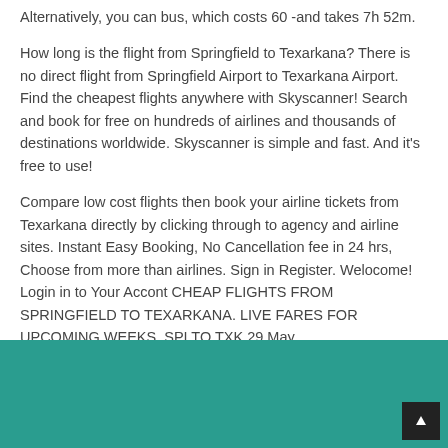Alternatively, you can bus, which costs 60 -and takes 7h 52m.
How long is the flight from Springfield to Texarkana? There is no direct flight from Springfield Airport to Texarkana Airport. Find the cheapest flights anywhere with Skyscanner! Search and book for free on hundreds of airlines and thousands of destinations worldwide. Skyscanner is simple and fast. And it's free to use!
Compare low cost flights then book your airline tickets from Texarkana directly by clicking through to agency and airline sites. Instant Easy Booking, No Cancellation fee in 24 hrs, Choose from more than airlines. Sign in Register. Welocome! Login in to Your Accont CHEAP FLIGHTS FROM SPRINGFIELD TO TEXARKANA. LIVE FARES FOR UPCOMING WEEKS. SPI TO TXK 29 May.
SPI TO TXK.